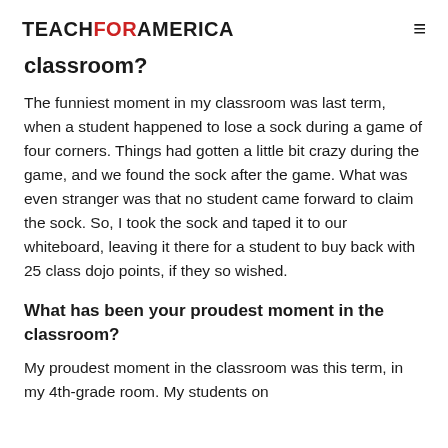TEACHFORAMERICA
classroom?
The funniest moment in my classroom was last term, when a student happened to lose a sock during a game of four corners. Things had gotten a little bit crazy during the game, and we found the sock after the game. What was even stranger was that no student came forward to claim the sock. So, I took the sock and taped it to our whiteboard, leaving it there for a student to buy back with 25 class dojo points, if they so wished.
What has been your proudest moment in the classroom?
My proudest moment in the classroom was this term, in my 4th-grade room. My students on